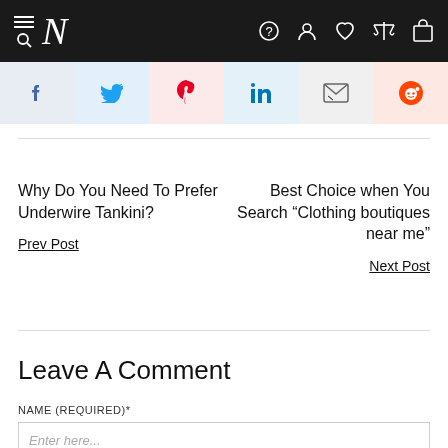N [navbar with hamburger, search, help, account, wishlist, compare, cart icons]
[Figure (screenshot): Social share buttons row: Facebook (blue), Twitter (blue), Pinterest (red), LinkedIn (blue), Email (gray), Reddit (orange-red)]
Why Do You Need To Prefer Underwire Tankini?
Best Choice when You Search “Clothing boutiques near me”
Prev Post
Next Post
Leave A Comment
NAME (required)*
Enter here...